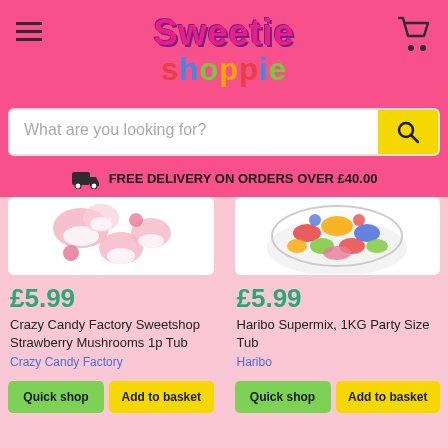Sweetie Shoppie - header with logo, hamburger menu, and cart icon
What are you looking for?
FREE DELIVERY ON ORDERS OVER £40.00
[Figure (photo): Product image of Crazy Candy Factory Sweetshop Strawberry Mushrooms 1p Tub sweets on white background]
£5.99
Crazy Candy Factory Sweetshop Strawberry Mushrooms 1p Tub
Crazy Candy Factory
[Figure (photo): Product image of Haribo Supermix 1KG Party Size Tub sweets in a bowl on white background]
£5.99
Haribo Supermix, 1KG Party Size Tub
Haribo